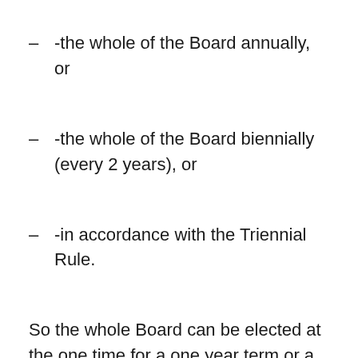-the whole of the Board annually, or
-the whole of the Board biennially (every 2 years), or
-in accordance with the Triennial Rule.
So the whole Board can be elected at the one time for a one year term or a 2-year term but does the Triennial rule mean that all directors can be elected at one time for a 3-year term? The answer is no.